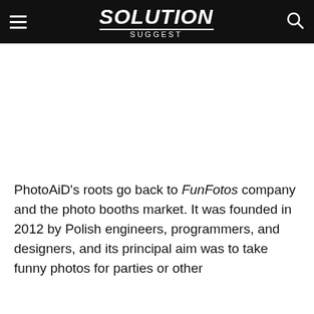SOLUTION Suggest
PhotoAiD’s roots go back to FunFotos company and the photo booths market. It was founded in 2012 by Polish engineers, programmers, and designers, and its principal aim was to take funny photos for parties or other